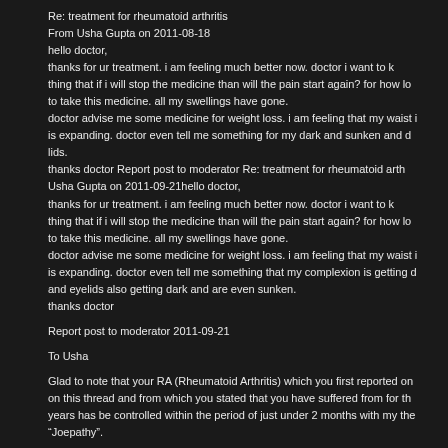Re: treatment for rheumatoid arthritis
From Usha Gupta on 2011-08-18
hello doctor,
thanks for ur treatment. i am feeling much better now. doctor i want to k thing that if i will stop the medicine than will the pain start again? for how lo to take this medicine. all my swellings have gone.
doctor advise me some medicine for weight loss. i am feeling that my waist is expanding. doctor even tell me something for my dark and sunken and c lids.
thanks doctor Report post to moderator Re: treatment for rheumatoid arth Usha Gupta on 2011-09-21hello doctor,
thanks for ur treatment. i am feeling much better now. doctor i want to k thing that if i will stop the medicine than will the pain start again? for how lo to take this medicine. all my swellings have gone.
doctor advise me some medicine for weight loss. i am feeling that my waist is expanding. doctor even tell me something that my complexion is getting d and eyelids also getting dark and are even sunken.
thanks doctor
Report post to moderator 2011-09-21
To Usha
Glad to note that your RA (Rheumatoid Arthritis) which you first reported on on this thread and from which you stated that you have suffered from for th years has be controlled within the period of just under 2 months with my the “Joepathy”.